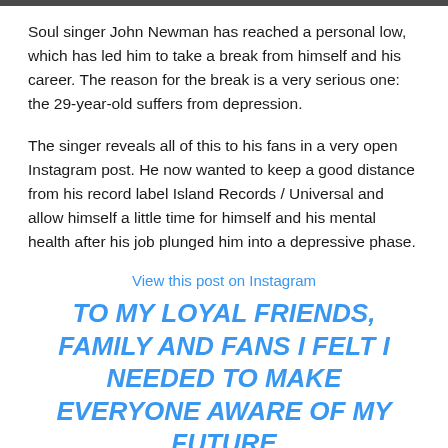[Figure (photo): Thin dark image strip at top of page, partially visible photo]
Soul singer John Newman has reached a personal low, which has led him to take a break from himself and his career. The reason for the break is a very serious one: the 29-year-old suffers from depression.
The singer reveals all of this to his fans in a very open Instagram post. He now wanted to keep a good distance from his record label Island Records / Universal and allow himself a little time for himself and his mental health after his job plunged him into a depressive phase.
View this post on Instagram
TO MY LOYAL FRIENDS, FAMILY AND FANS I FELT I NEEDED TO MAKE EVERYONE AWARE OF MY FUTURE